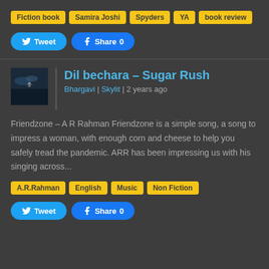Fiction book
Samira Joshi
Spyders
YA
book review
Tweet
Share 0
Dil bechara – Sugar Rush
Bhargavi | Skylit | 2 years ago
Friendzone – A R Rahman Friendzone is a simple song, a song to impress a woman, with enough corn and cheese to help you safely tread the pandemic. ARR has been impressing us with his singing across...
A.R.Rahman
English
Music
Non Fiction
Tweet
Share 0